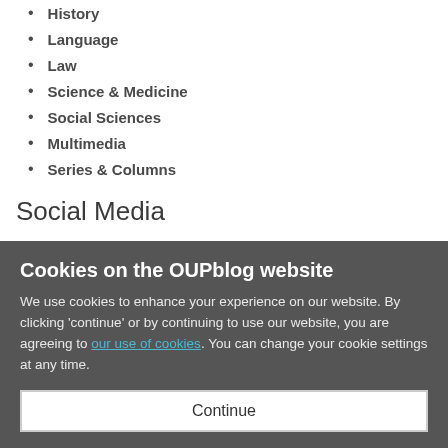History
Language
Law
Science & Medicine
Social Sciences
Multimedia
Series & Columns
Social Media
Facebook
Twitter
Tumblr
Pinterest
YouTube
Cookies on the OUPblog website
We use cookies to enhance your experience on our website. By clicking 'continue' or by continuing to use our website, you are agreeing to our use of cookies. You can change your cookie settings at any time.
Continue